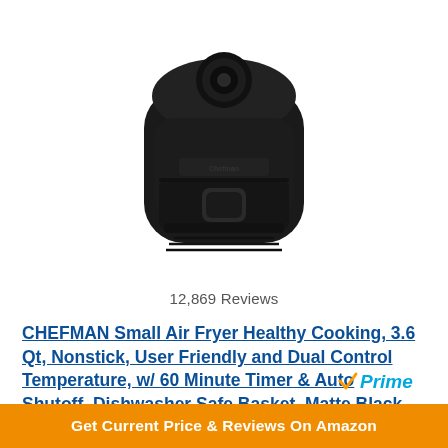[Figure (photo): Black Chefman small air fryer with round knob on top and drawer handle at front, matte black finish, front-facing view on white background]
12,869 Reviews
CHEFMAN Small Air Fryer Healthy Cooking, 3.6 Qt, Nonstick, User Friendly and Dual Control Temperature, w/ 60 Minute Timer & Auto Shutoff, Dishwasher Safe Basket, Matte Black, Cookbook Included
[Figure (logo): Amazon Prime badge with orange checkmark and blue italic Prime text]
Get Current Price & Reviews On Amazon